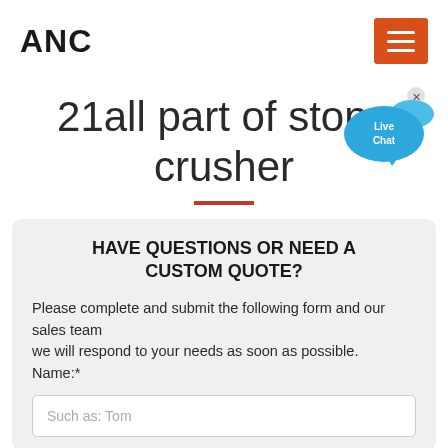ANC
21all part of stone crusher
[Figure (illustration): Live Chat speech bubble icon with a blue chat bubble and bird/fish shape, with an X close button in the top right corner. Text inside reads 'Live Chat'.]
HAVE QUESTIONS OR NEED A CUSTOM QUOTE?
Please complete and submit the following form and our sales team
we will respond to your needs as soon as possible.
Name:*
Such as: Tom